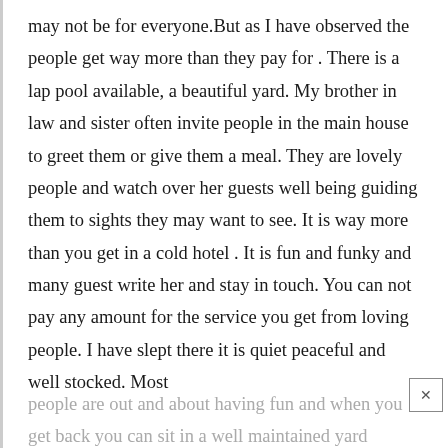may not be for everyone.But as I have observed the people get way more than they pay for . There is a lap pool available, a beautiful yard. My brother in law and sister often invite people in the main house to greet them or give them a meal. They are lovely people and watch over her guests well being guiding them to sights they may want to see. It is way more than you get in a cold hotel . It is fun and funky and many guest write her and stay in touch. You can not pay any amount for the service you get from loving people. I have slept there it is quiet peaceful and well stocked. Most people are out and about having fun and when you get back you can sit in a well maintained yard